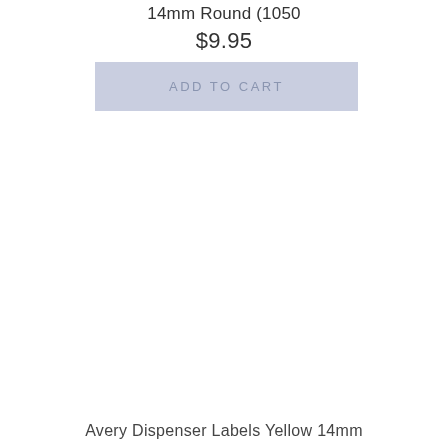14mm Round (1050
$9.95
ADD TO CART
Avery Dispenser Labels Yellow 14mm